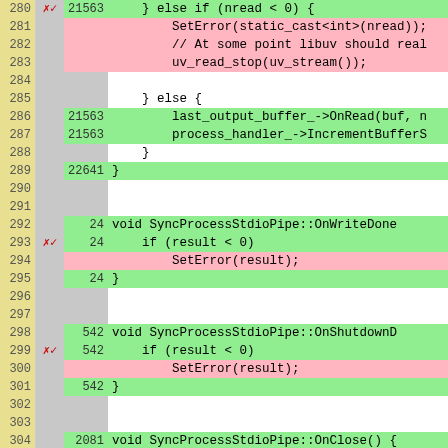[Figure (screenshot): Code coverage viewer showing C++ source lines 280-306 with line numbers, hit counts, coverage markers (red X / green check), and highlighted lines (green for covered, pink for uncovered). Functions shown: anonymous block with nread check, SyncProcessStdioPipe::OnWriteDone, SyncProcessStdioPipe::OnShutdownDone, SyncProcessStdioPipe::OnClose.]